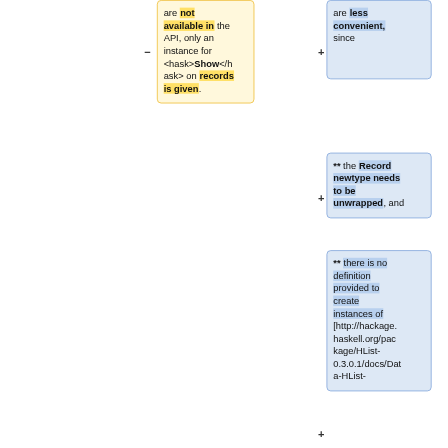are not available in the API, only an instance for <hask>Show</hask> on records is given.
are less convenient, since
** the Record newtype needs to be unwrapped, and
** there is no definition provided to create instances of [http://hackage.haskell.org/package/HList-0.3.0.1/docs/Dat a-HList-